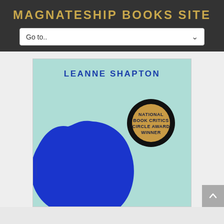MAGNATESHIP BOOKS SITE
Go to..
[Figure (screenshot): Book cover for a book by Leanne Shapton. Mint/teal green background with a large dark blue brushstroke blob shape. A circular badge reads NATIONAL BOOK CRITICS CIRCLE AWARD WINNER in dark text on a tan/gold background with a thick black border.]